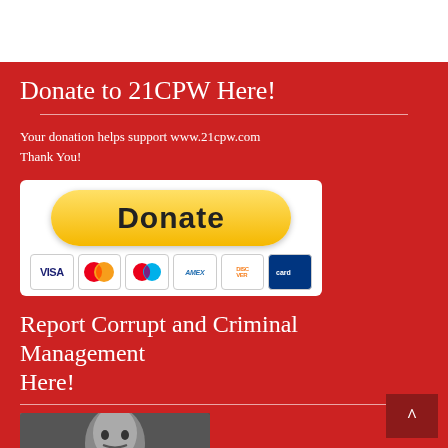Donate to 21CPW Here!
Your donation helps support www.21cpw.com
Thank You!
[Figure (other): PayPal Donate button with credit card logos (Visa, Mastercard, Discover, Amex, and others)]
Report Corrupt and Criminal Management Here!
[Figure (photo): Black and white photo of a man looking upward, cropped at bottom of page]